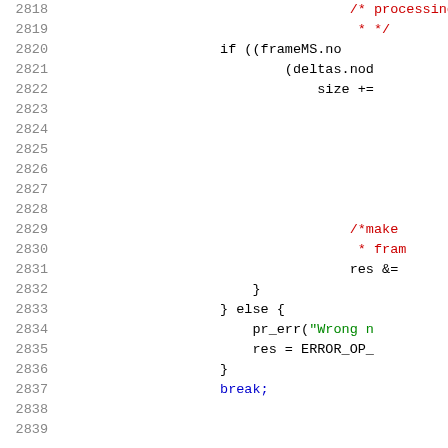Source code listing lines 2818-2839 showing C/kernel code with comments, conditionals, and error handling